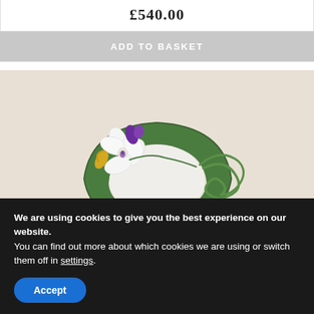£540.00
ADD TO BASKET
[Figure (photo): Green velvet fascinator hat on a white mannequin head, decorated with a white orchid flower with purple and yellow accents, and a looped green cord trim, on a light beige background.]
We are using cookies to give you the best experience on our website.
You can find out more about which cookies we are using or switch them off in settings.
Accept